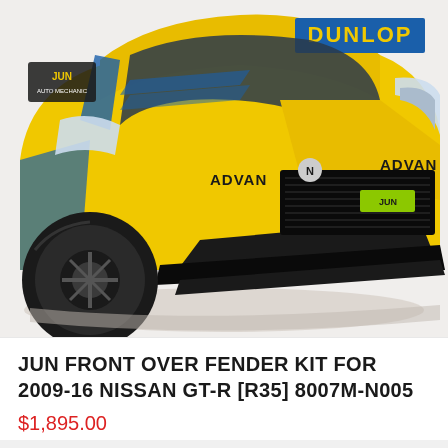[Figure (photo): Yellow Nissan GT-R R35 race car with JUN branding and ADVAN sponsorship, black wheels and aerodynamic body kit, front 3/4 view]
JUN FRONT OVER FENDER KIT FOR 2009-16 NISSAN GT-R [R35] 8007M-N005
$1,895.00
[Figure (photo): Partial view of another yellow JUN-branded vehicle, bottom of page]